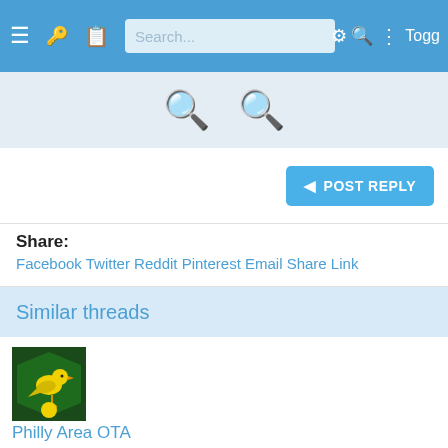[Figure (screenshot): Mobile app navigation bar with hamburger menu, key icon, clipboard icon, search box showing 'Search...', gear icon, magnifier icon, three-dot menu, and 'Togg' text cut off. Blue background.]
[Figure (screenshot): Light gray section with two magnifier/search icons centered.]
[Figure (screenshot): White section with 'POST REPLY' button (blue, with arrow) aligned to the right.]
Share:
Facebook Twitter Reddit Pinterest Email Share Link
Similar threads
[Figure (logo): Norwich City FC crest/logo — green shield with yellow canary bird on dark green background.]
Philly Area OTA
Weezknight
Jan 16, 2008